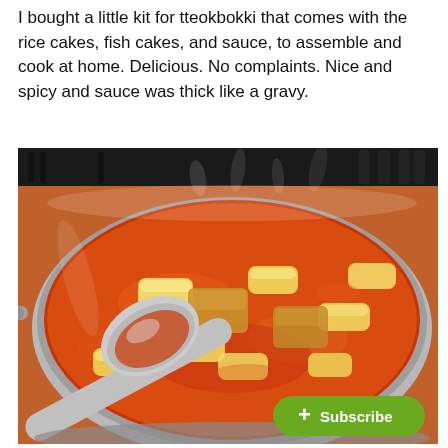I bought a little kit for tteokbokki that comes with the rice cakes, fish cakes, and sauce, to assemble and cook at home. Delicious. No complaints. Nice and spicy and sauce was thick like a gravy.
[Figure (photo): A large stainless steel pot on a stove filled with spicy red-orange tteokbokki sauce, rice cakes, and fish cakes. A large spoon/ladle is visible in the pot. Steam rises above the dish. A green 'Subscribe' button with a plus sign is overlaid in the bottom-right corner of the image.]